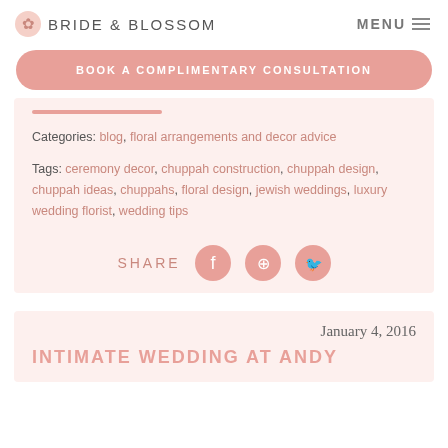BRIDE & BLOSSOM  MENU
BOOK A COMPLIMENTARY CONSULTATION
Categories: blog, floral arrangements and decor advice
Tags: ceremony decor, chuppah construction, chuppah design, chuppah ideas, chuppahs, floral design, jewish weddings, luxury wedding florist, wedding tips
SHARE
January 4, 2016
INTIMATE WEDDING AT ANDY